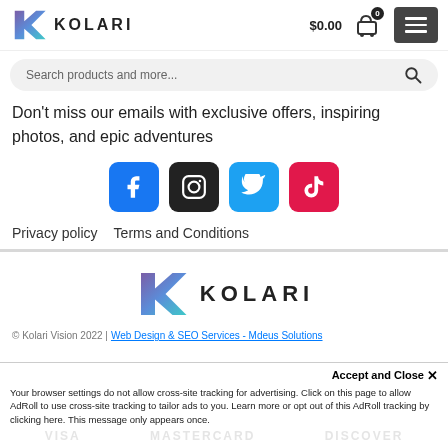KOLARI  $0.00  0
Search products and more...
Don't miss our emails with exclusive offers, inspiring photos, and epic adventures
[Figure (infographic): Social media icons: Facebook (blue), Instagram (black), Twitter (light blue), TikTok (pink/red)]
Privacy policy   Terms and Conditions
[Figure (logo): Kolari Vision logo with purple/teal K icon and KOLARI text]
© Kolari Vision 2022 | Web Design & SEO Services - Mdeus Solutions
Accept and Close ×
Your browser settings do not allow cross-site tracking for advertising. Click on this page to allow AdRoll to use cross-site tracking to tailor ads to you. Learn more or opt out of this AdRoll tracking by clicking here. This message only appears once.